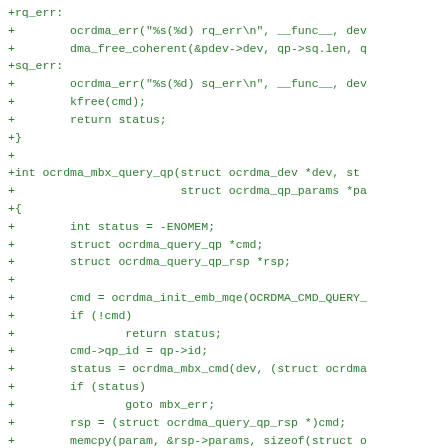[Figure (screenshot): Source code diff showing C code additions (lines prefixed with +) in green monospace font. Code includes error labels rq_err and sq_err, and the function ocrdma_mbx_query_qp with local variables, mailbox command initialization, and error handling.]